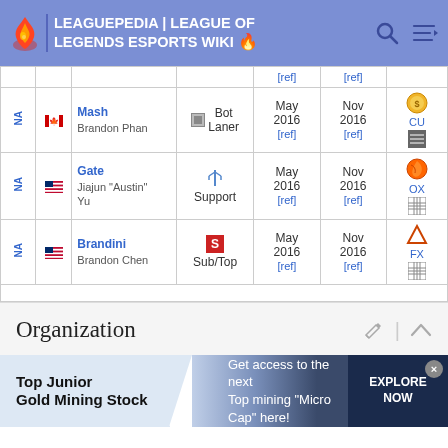LEAGUEPEDIA | LEAGUE OF LEGENDS ESPORTS WIKI
|  | ID | Name | Role | Date | Date | Team |
| --- | --- | --- | --- | --- | --- | --- |
| [ref] | [ref] |
| NA | Mash (Canada) | Brandon Phan | Bot Laner | May 2016 [ref] | Nov 2016 [ref] | CU |
| NA | Gate (US) | Jiajun "Austin" Yu | Support | May 2016 [ref] | Nov 2016 [ref] | OX |
| NA | Brandini (US) | Brandon Chen | Sub/Top | May 2016 [ref] | Nov 2016 [ref] | FX |
Organization
Top Junior Gold Mining Stock — Get access to the next Top mining "Micro Cap" here! EXPLORE NOW